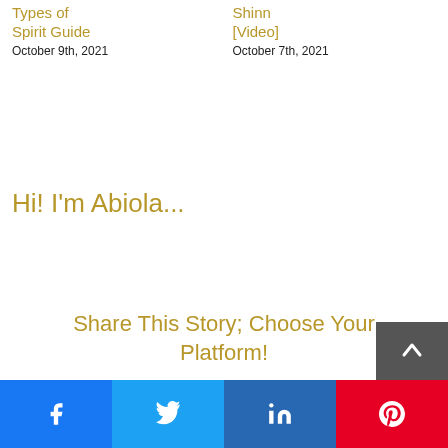Types of Spirit Guide
October 9th, 2021
Shinn [Video]
October 7th, 2021
Hi! I'm Abiola...
Share This Story; Choose Your Platform!
[Figure (other): Social share buttons: Facebook, Twitter, LinkedIn, Pinterest with scroll-to-top button]